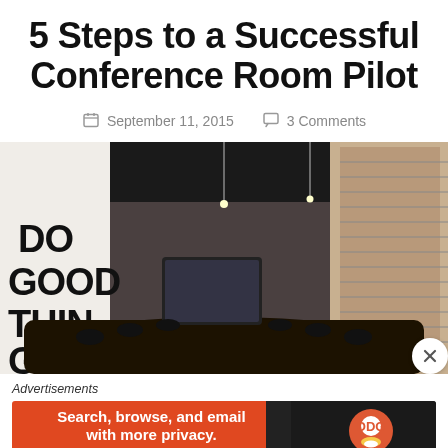5 Steps to a Successful Conference Room Pilot
September 11, 2015    3 Comments
[Figure (photo): Conference room interior with dark ceiling, long table with chairs, screen at the end, and 'DO GOOD THINGS' text on the left wall]
Advertisements
[Figure (other): DuckDuckGo advertisement banner: 'Search, browse, and email with more privacy. All in One Free App' with DuckDuckGo logo on dark right panel]